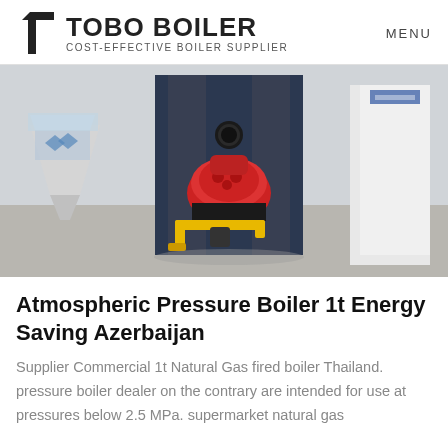TOBO BOILER | COST-EFFECTIVE BOILER SUPPLIER | MENU
[Figure (photo): Industrial atmospheric pressure boiler unit in a warehouse setting. A large dark navy/blue vertical boiler with a red burner head attachment and yellow gas pipe assembly at the bottom front. Industrial space with concrete floor and other equipment visible in background.]
Atmospheric Pressure Boiler 1t Energy Saving Azerbaijan
Supplier Commercial 1t Natural Gas fired boiler Thailand. pressure boiler dealer on the contrary are intended for use at pressures below 2.5 MPa. supermarket natural gas